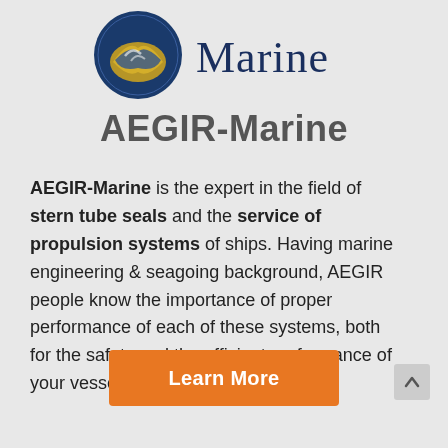[Figure (logo): AEGIR-Marine logo: circular emblem with blue and gold colors showing a wave/marine motif, next to the text 'Marine' in dark navy serif font]
AEGIR-Marine
AEGIR-Marine is the expert in the field of stern tube seals and the service of propulsion systems of ships. Having marine engineering & seagoing background, AEGIR people know the importance of proper performance of each of these systems, both for the safety and the efficient performance of your vessels.
Learn More